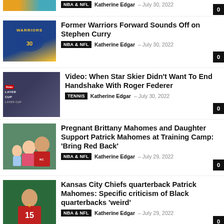NBA & NFL  Katherine Edgar – July 30, 2022  [0]
[Figure (photo): Thumbnail photo of Stephen Curry in Warriors jersey]
Former Warriors Forward Sounds Off on Stephen Curry
NBA & NFL  Katherine Edgar – July 30, 2022
[Figure (photo): Thumbnail photo of star skier with Roger Federer at Laver Cup]
Video: When Star Skier Didn't Want To End Handshake With Roger Federer
TENNIS  Katherine Edgar – July 30, 2022
[Figure (photo): Thumbnail photo of Brittany Mahomes with daughter and Patrick Mahomes]
Pregnant Brittany Mahomes and Daughter Support Patrick Mahomes at Training Camp: 'Bring Red Back'
NBA & NFL  Katherine Edgar – July 29, 2022
[Figure (photo): Thumbnail photo of Patrick Mahomes #15 in Chiefs uniform on football field]
Kansas City Chiefs quarterback Patrick Mahomes: Specific criticism of Black quarterbacks 'weird'
NBA & NFL  Katherine Edgar – July 29, 2022
[Figure (photo): Partial thumbnail at bottom of page]